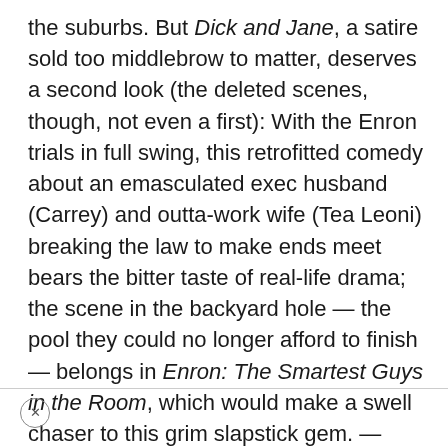the suburbs. But Dick and Jane, a satire sold too middlebrow to matter, deserves a second look (the deleted scenes, though, not even a first): With the Enron trials in full swing, this retrofitted comedy about an emasculated exec husband (Carrey) and outta-work wife (Tea Leoni) breaking the law to make ends meet bears the bitter taste of real-life drama; the scene in the backyard hole — the pool they could no longer afford to finish — belongs in Enron: The Smartest Guys in the Room, which would make a swell chaser to this grim slapstick gem. — Wilonsky